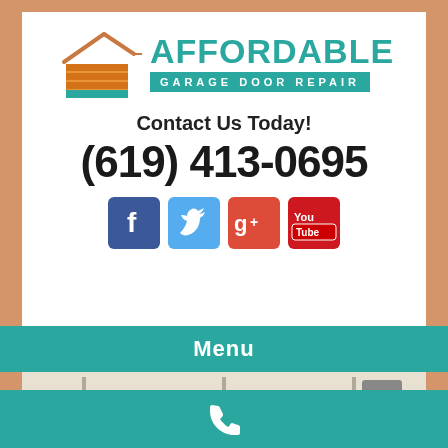[Figure (logo): Affordable Garage Door Repair logo with house roof icon and teal/orange color scheme]
Contact Us Today!
(619) 413-0695
[Figure (infographic): Social media icons row: Facebook, Twitter, Google+, YouTube]
Menu
[Figure (photo): Interior photo of garage showing garage door tracks and panels from inside]
[Figure (infographic): Phone/call icon in bottom teal bar]